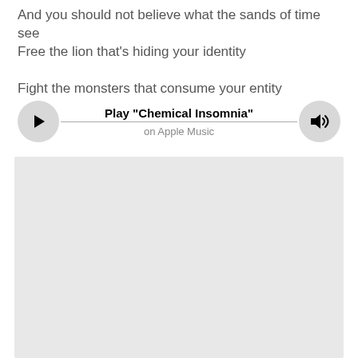And you should not believe what the sands of time see
Free the lion that's hiding your identity

Fight the monsters that consume your entity
[Figure (other): Music player bar with play button, track title 'Play "Chemical Insomnia"', subtitle 'on Apple Music', progress line, and volume button]
[Figure (other): Large grey rectangle placeholder area below the player]